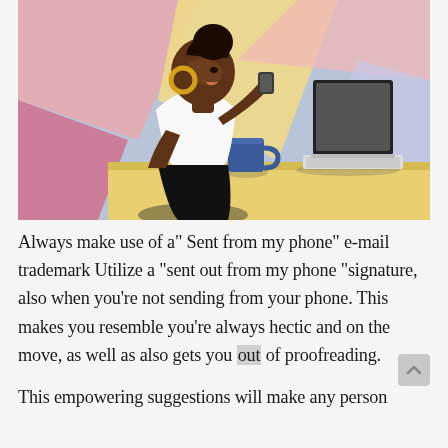[Figure (illustration): Colorful flat illustration of a Black woman with dark hair in a bun, wearing a white top and gold hoop earrings, sitting at a yellow desk with a blue coffee mug and a laptop. She is looking upward and holding a pen/phone. The background features abstract shapes in pastel pink, lavender, yellow, and blue.]
Always make use of a" Sent from my phone" e-mail trademark Utilize a "sent out from my phone "signature, also when you're not sending from your phone. This makes you resemble you're always hectic and on the move, as well as also gets you out of proofreading.
This empowering suggestions will make any person